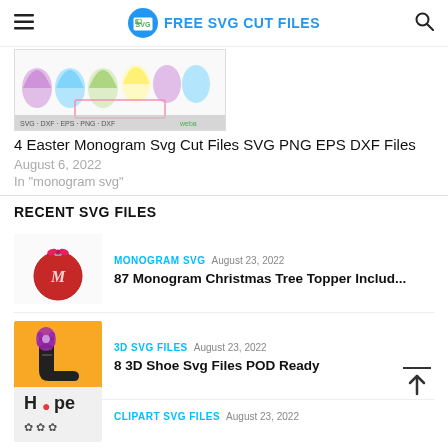FREE SVG CUT FILES
[Figure (photo): Easter egg monogram SVG cut file preview with colorful Easter eggs]
4 Easter Monogram Svg Cut Files SVG PNG EPS DXF Files
August 6, 2022
In "monogram svg"
RECENT SVG FILES
[Figure (photo): Red Christmas ornament with monogram decoration]
MONOGRAM SVG  August 23, 2022
87 Monogram Christmas Tree Topper Includ...
[Figure (photo): 3D Shoe SVG file, black and purple decorated boot on yellow background]
3D SVG FILES  August 23, 2022
8 3D Shoe Svg Files POD Ready
[Figure (photo): Clipart SVG files thumbnail]
CLIPART SVG FILES  August 23, 2022